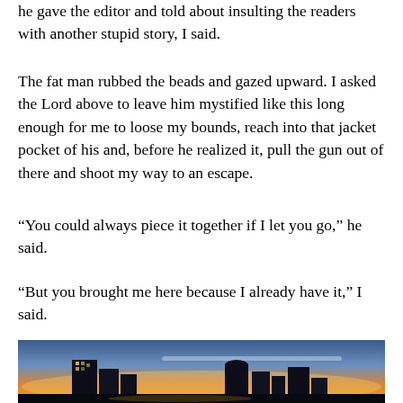he gave the editor and told about insulting the readers with another stupid story, I said.
The fat man rubbed the beads and gazed upward. I asked the Lord above to leave him mystified like this long enough for me to loose my bounds, reach into that jacket pocket of his and, before he realized it, pull the gun out of there and shoot my way to an escape.
“You could always piece it together if I let you go,” he said.
“But you brought me here because I already have it,” I said.
[Figure (photo): City skyline at dusk/sunset with tall buildings silhouetted against a gradient sky of blue, orange and yellow hues.]